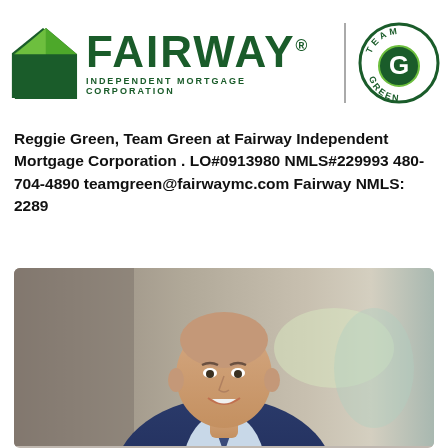[Figure (logo): Fairway Independent Mortgage Corporation logo with green house icon and Team Green circular badge]
Reggie Green, Team Green at Fairway Independent Mortgage Corporation . LO#0913980 NMLS#229993 480-704-4890 teamgreen@fairwaymc.com Fairway NMLS: 2289
[Figure (photo): Professional headshot of Reggie Green, a bald man in a blue suit smiling, blurred office background]